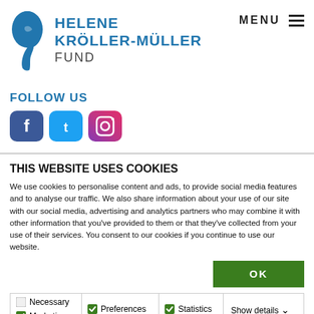[Figure (logo): Helene Kröller-Müller Fund logo with blue silhouette profile and brand name]
FOLLOW US
[Figure (infographic): Social media icons: Facebook (dark blue), Twitter (light blue), Instagram (purple gradient)]
THIS WEBSITE USES COOKIES
We use cookies to personalise content and ads, to provide social media features and to analyse our traffic. We also share information about your use of our site with our social media, advertising and analytics partners who may combine it with other information that you've provided to them or that they've collected from your use of their services. You consent to our cookies if you continue to use our website.
| Necessary | Preferences | Statistics | Show details |
| --- | --- | --- | --- |
| Marketing |  |  |  |